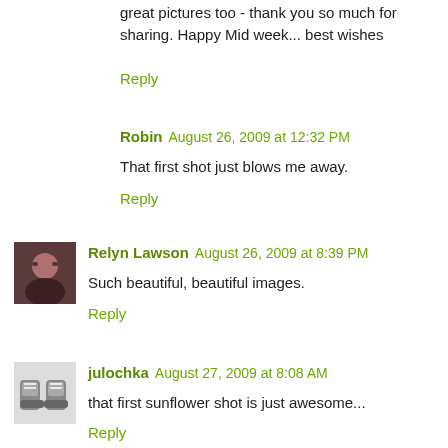great pictures too - thank you so much for sharing. Happy Mid week... best wishes
Reply
Robin August 26, 2009 at 12:32 PM
That first shot just blows me away.
Reply
Relyn Lawson August 26, 2009 at 8:39 PM
Such beautiful, beautiful images.
Reply
julochka August 27, 2009 at 8:08 AM
that first sunflower shot is just awesome...
Reply